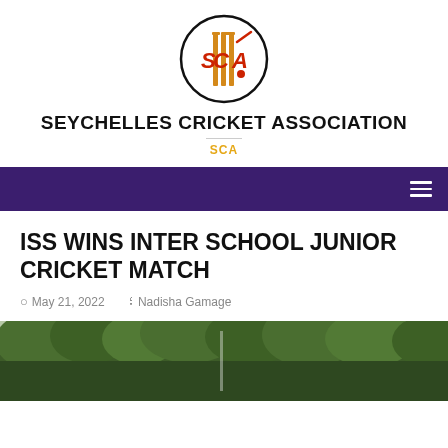[Figure (logo): Seychelles Cricket Association circular logo with red and gold letters SCA and cricket stumps]
SEYCHELLES CRICKET ASSOCIATION
SCA
[Figure (other): Dark purple navigation bar with hamburger menu icon on the right]
ISS WINS INTER SCHOOL JUNIOR CRICKET MATCH
May 21, 2022   Nadisha Gamage
[Figure (photo): Outdoor cricket ground photo showing green trees in the background]